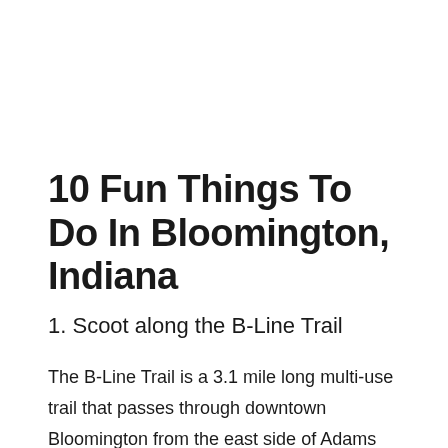10 Fun Things To Do In Bloomington, Indiana
1. Scoot along the B-Line Trail
The B-Line Trail is a 3.1 mile long multi-use trail that passes through downtown Bloomington from the east side of Adams Street to the north side of Country Club Drive. Along the way, you'll find parks, paved plaza areas,